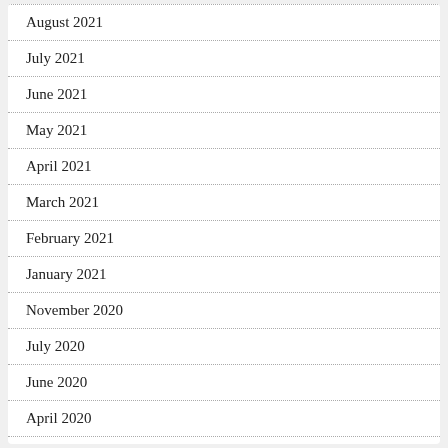August 2021
July 2021
June 2021
May 2021
April 2021
March 2021
February 2021
January 2021
November 2020
July 2020
June 2020
April 2020